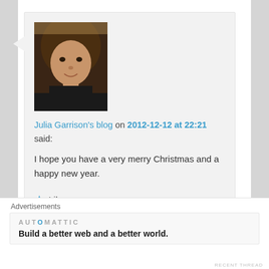[Figure (photo): Profile photo of a woman with brown hair wearing a black top]
Julia Garrison's blog on 2012-12-12 at 22:21 said:
I hope you have a very merry Christmas and a happy new year.
★ Like
Reply ↓
[Figure (photo): Partially visible profile photo of another commenter]
Advertisements
[Figure (logo): Automattic logo with blue dot in AUTOMATTIC text]
Build a better web and a better world.